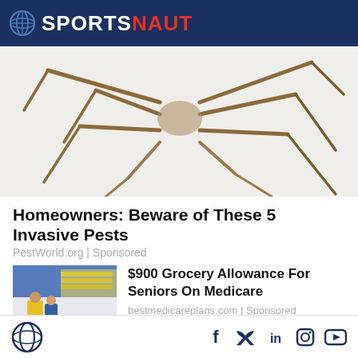SPORTSNAUT
[Figure (photo): Close-up macro photo of spider or insect legs on white background]
Homeowners: Beware of These 5 Invasive Pests
PestWorld.org | Sponsored
[Figure (photo): Grocery store interior with shoppers pushing carts in a Walmart-style store]
$900 Grocery Allowance For Seniors On Medicare
bestmedicareplans.com | Sponsored
[Figure (photo): Partial view of a gold/yellow colored image, partially cut off]
Here's an easy way to silence...
SPORTSNAUT social icons: Facebook, Twitter, LinkedIn, Instagram, YouTube